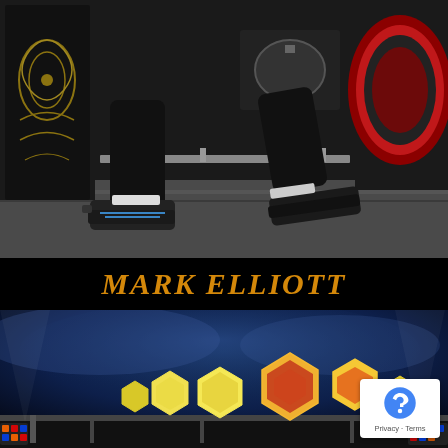[Figure (photo): Concert stage photo showing a performer's legs in black jeans and sneakers mid-stride, with drum kit and red bass drum in background, dark ornate speaker cabinet on left]
MARK ELLIOTT
[Figure (photo): Outdoor night concert scene with glowing hexagonal illuminated stage props in yellow, orange and red against a dark blue smoky sky, with stage lighting rigs visible, and a reCAPTCHA badge overlay in bottom right]